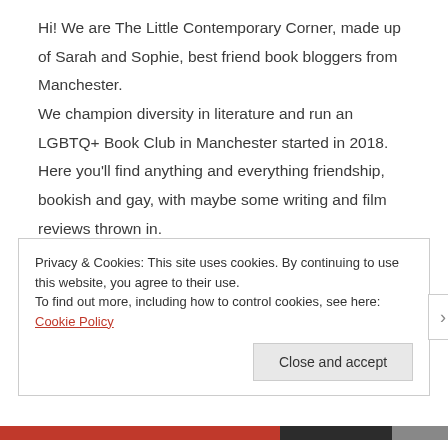Hi! We are The Little Contemporary Corner, made up of Sarah and Sophie, best friend book bloggers from Manchester.

We champion diversity in literature and run an LGBTQ+ Book Club in Manchester started in 2018.

Here you'll find anything and everything friendship, bookish and gay, with maybe some writing and film reviews thrown in.
Privacy & Cookies: This site uses cookies. By continuing to use this website, you agree to their use.
To find out more, including how to control cookies, see here: Cookie Policy
Close and accept